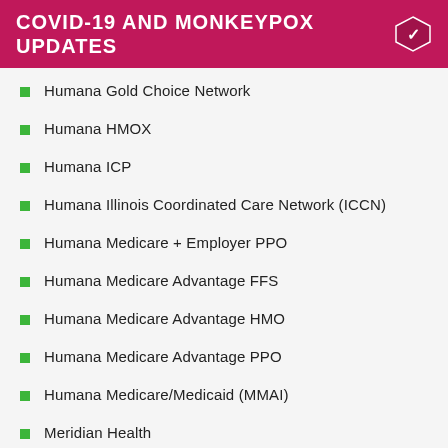COVID-19 AND MONKEYPOX UPDATES
Humana Gold Choice Network
Humana HMOX
Humana ICP
Humana Illinois Coordinated Care Network (ICCN)
Humana Medicare + Employer PPO
Humana Medicare Advantage FFS
Humana Medicare Advantage HMO
Humana Medicare Advantage PPO
Humana Medicare/Medicaid (MMAI)
Meridian Health
MoreCare Medicare Advantage
Multiplan
Multiplan - Auto/Medical
Multiplan Workers Compensation